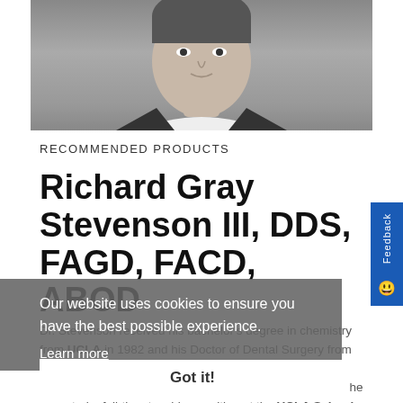[Figure (photo): Black and white headshot photo of Dr. Richard Gray Stevenson III, showing head and shoulders in a dark suit]
RECOMMENDED PRODUCTS
Richard Gray Stevenson III, DDS, FAGD, FACD, ABOD
Our website uses cookies to ensure you have the best possible experience. Learn more
Got it!
Dr. Stevenson received his bachelor's degree in chemistry from UCLA in 1982 and his Doctor of Dental Surgery from the UCLA School of Dentistry in 1986. After practicing general dentistry for 7 years in Laguna Niguel, California, he accepted a full-time teaching position at the UCLA School of Dentistry, as an Assistant